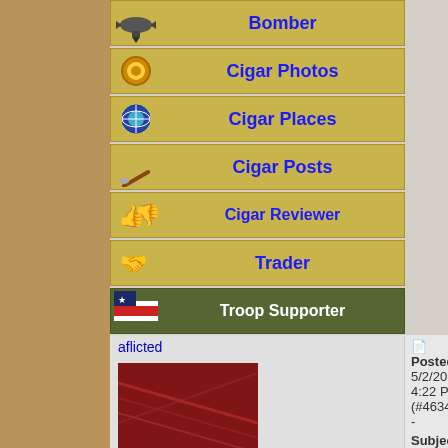[Figure (screenshot): Forum navigation badge buttons: Bomber, Cigar Photos, Cigar Places, Cigar Posts, Cigar Reviewer, Trader, Troop Supporter]
aflicted
Posted 5/2/2014 4:22 PM (#463427 -
Subject: Re: Anyone want to split some
[Figure (photo): User avatar showing red/brown textured image]
Veteran
Joined: 3/10/2014
Posts: 255
★★★★
Points: 395
★★★★★★★
Feedback Rating: 8
Saw that in you deals thread! Tha